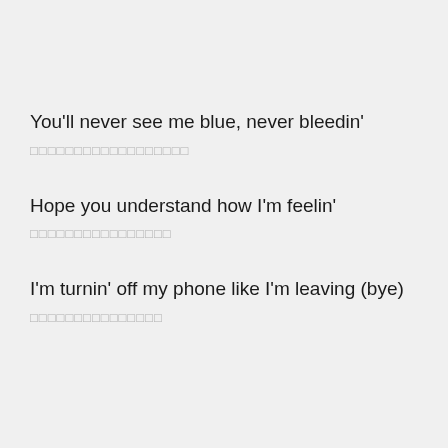You'll never see me blue, never bleedin'
□□□□□□□□□□□□□□□□□□
Hope you understand how I'm feelin'
□□□□□□□□□□□□□□□□
I'm turnin' off my phone like I'm leaving (bye)
□□□□□□□□□□□□□□□